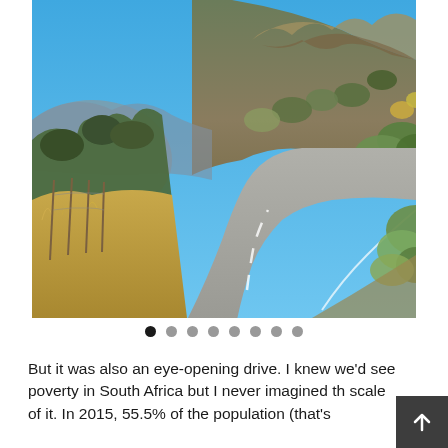[Figure (photo): A two-lane road winding through dry African savanna landscape with rocky hills covered in scrub vegetation under a clear blue sky.]
But it was also an eye-opening drive. I knew we'd see poverty in South Africa but I never imagined th scale of it. In 2015, 55.5% of the population (that's